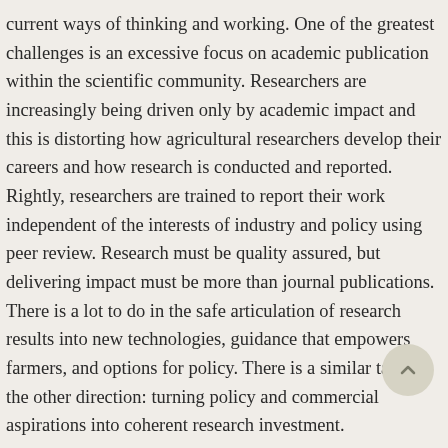current ways of thinking and working. One of the greatest challenges is an excessive focus on academic publication within the scientific community. Researchers are increasingly being driven only by academic impact and this is distorting how agricultural researchers develop their careers and how research is conducted and reported. Rightly, researchers are trained to report their work independent of the interests of industry and policy using peer review. Research must be quality assured, but delivering impact must be more than journal publications. There is a lot to do in the safe articulation of research results into new technologies, guidance that empowers farmers, and options for policy. There is a similar task in the other direction: turning policy and commercial aspirations into coherent research investment.
On the accomplishments side, I hope I have helped my